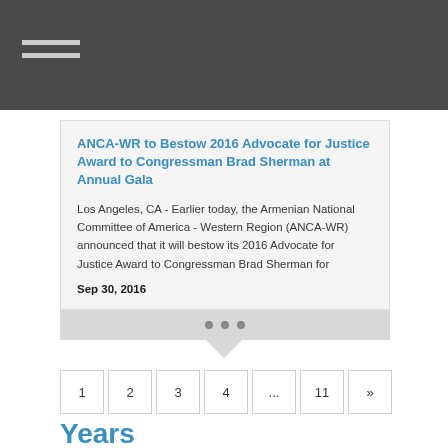ANCA-WR to Bestow 2016 Advocate for Justice Award to Congressman Brad Sherman at Annual Gala
Los Angeles, CA - Earlier today, the Armenian National Committee of America - Western Region (ANCA-WR) announced that it will bestow its 2016 Advocate for Justice Award to Congressman Brad Sherman for
Sep 30, 2016
• • •
1
2
3
4
...
11
»
Years